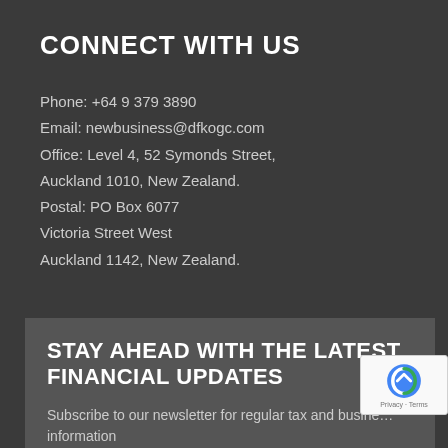CONNECT WITH US
Phone: +64 9 379 3890
Email: newbusiness@dfkogc.com
Office: Level 4, 52 Symonds Street,
Auckland 1010, New Zealand.
Postal: PO Box 6077
Victoria Street West
Auckland 1142, New Zealand.
STAY AHEAD WITH THE LATEST FINANCIAL UPDATES
Subscribe to our newsletter for regular tax and business information